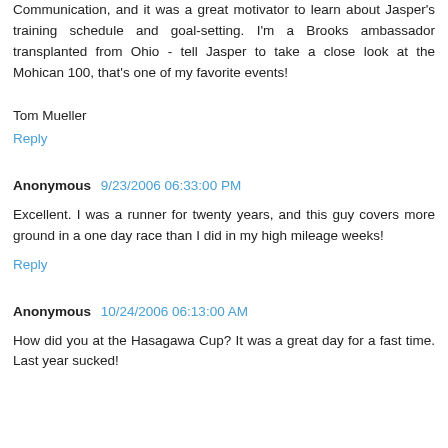Communication, and it was a great motivator to learn about Jasper's training schedule and goal-setting. I'm a Brooks ambassador transplanted from Ohio - tell Jasper to take a close look at the Mohican 100, that's one of my favorite events!
Tom Mueller
Reply
Anonymous 9/23/2006 06:33:00 PM
Excellent. I was a runner for twenty years, and this guy covers more ground in a one day race than I did in my high mileage weeks!
Reply
Anonymous 10/24/2006 06:13:00 AM
How did you at the Hasagawa Cup? It was a great day for a fast time. Last year sucked!